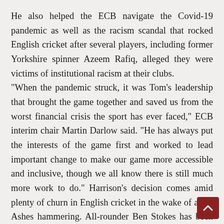He also helped the ECB navigate the Covid-19 pandemic as well as the racism scandal that rocked English cricket after several players, including former Yorkshire spinner Azeem Rafiq, alleged they were victims of institutional racism at their clubs. “When the pandemic struck, it was Tom’s leadership that brought the game together and saved us from the worst financial crisis the sport has ever faced,” ECB interim chair Martin Darlow said. “He has always put the interests of the game first and worked to lead important change to make our game more accessible and inclusive, though we all know there is still much more work to do.” Harrison’s decision comes amid plenty of churn in English cricket in the wake of a 4-0 Ashes hammering. All-rounder Ben Stokes has been appointed as the new captain of the test team, replacing Joe Root, and former New Zealand